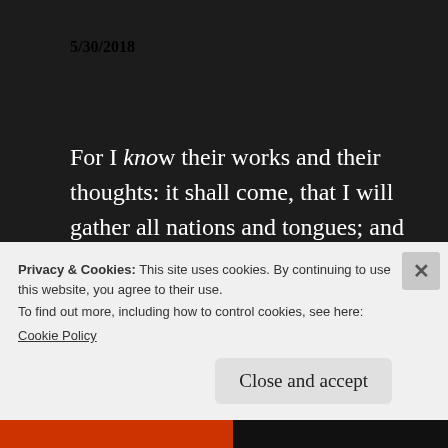5/30/2018
For I know their works and their thoughts: it shall come, that I will gather all nations and tongues; and they shall come, and see My glory. — Isaiah 66:18
In your patience possess ye your souls. — Luke 21:19
Privacy & Cookies: This site uses cookies. By continuing to use this website, you agree to their use.
To find out more, including how to control cookies, see here:
Cookie Policy
Close and accept